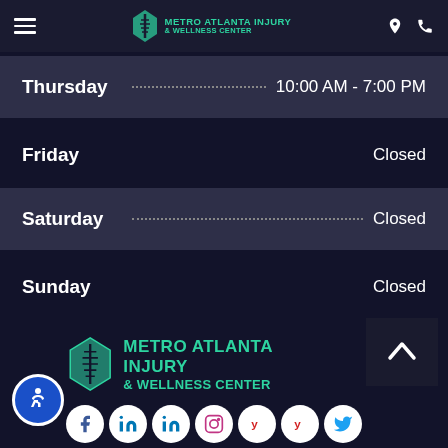Metro Atlanta Injury & Wellness Center - Navigation bar
Thursday  10:00 AM - 7:00 PM
Friday  Closed
Saturday  Closed
Sunday  Closed
[Figure (logo): Metro Atlanta Injury & Wellness Center footer logo with teal spine/diamond icon]
Social media icons row: Facebook, LinkedIn, LinkedIn, Instagram, Yelp, Yelp, Twitter